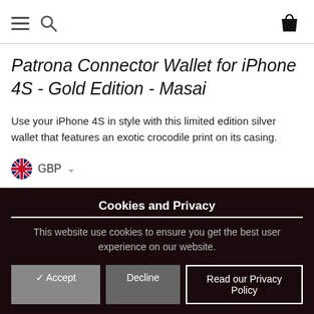Navigation bar with hamburger menu, search icon, and shopping bag icon
Patrona Connector Wallet for iPhone 4S - Gold Edition - Masai
Use your iPhone 4S in style with this limited edition silver wallet that features an exotic crocodile print on its casing.
GBP
Cookies and Privacy
This website use cookies to ensure you get the best user experience on our website.
✓ Accept
Decline
Read our Privacy Policy